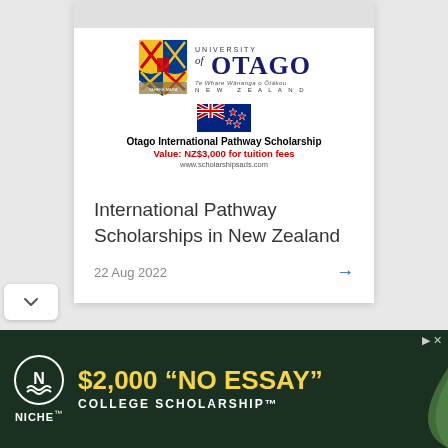[Figure (logo): University of Otago logo with shield crest, university name text, New Zealand flag, scholarship title and value info]
International Pathway Scholarships in New Zealand
22 Aug 2022
[Figure (infographic): Niche $2,000 No Essay College Scholarship advertisement banner with dark green background and yellow text]